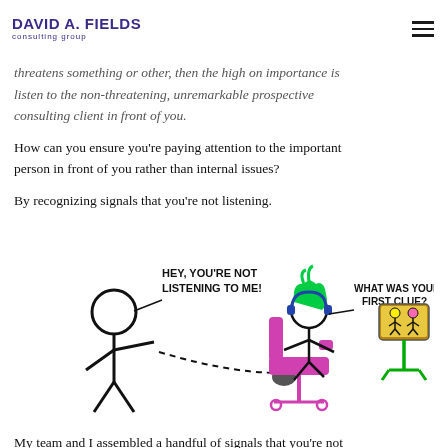DAVID A. FIELDS consulting group
threatens something or other, then the high on importance is listen to the non-threatening, unremarkable prospective consulting client in front of you.
How can you ensure you're paying attention to the important person in front of you rather than internal issues?
By recognizing signals that you're not listening.
[Figure (illustration): Cartoon showing a stick figure person saying 'HEY, YOU'RE NOT LISTENING TO ME!' to another figure with green hair wearing headphones, sitting in a magenta chair, looking at a screen with two small figures on it. The person replies 'WHAT WAS YOUR FIRST CLUE?']
My team and I assembled a handful of signals that you're not